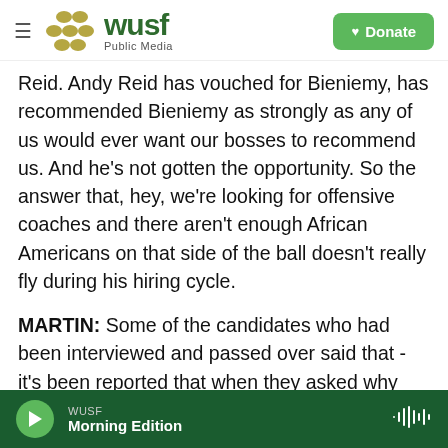WUSF Public Media | Donate
Reid. Andy Reid has vouched for Bieniemy, has recommended Bieniemy as strongly as any of us would ever want our bosses to recommend us. And he's not gotten the opportunity. So the answer that, hey, we're looking for offensive coaches and there aren't enough African Americans on that side of the ball doesn't really fly during his hiring cycle.
MARTIN: Some of the candidates who had been interviewed and passed over said that - it's been reported that when they asked why they didn't get the position, they were saying - things that were said to them that you could imagine being said 30
WUSF Morning Edition